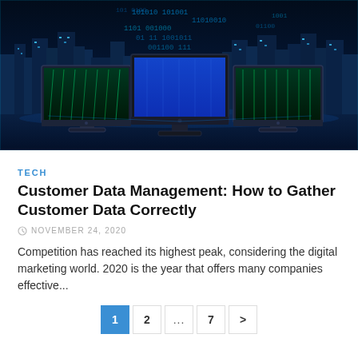[Figure (illustration): Three desktop computer monitors displaying glowing blue/green digital data streams and binary code overlaid on a dark nighttime city skyline. The background features a bright blue-lit cityscape with binary digits floating in the air. The scene has a futuristic, technology/cyberpunk aesthetic.]
TECH
Customer Data Management: How to Gather Customer Data Correctly
NOVEMBER 24, 2020
Competition has reached its highest peak, considering the digital marketing world. 2020 is the year that offers many companies effective...